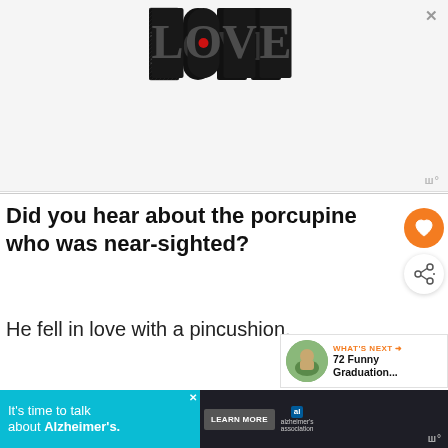[Figure (illustration): LOVE text logo with decorative illustrated letters in black and white with a red dot accent, shown as a website advertisement banner]
Did you hear about the porcupine who was near-sighted?
He fell in love with a pincushion.
[Figure (infographic): What's Next panel with circular photo and text reading 72 Funny Graduation...]
[Figure (infographic): Bottom advertisement banner: It's time to talk about Alzheimer's. Learn More button. Alzheimer's Association logo.]